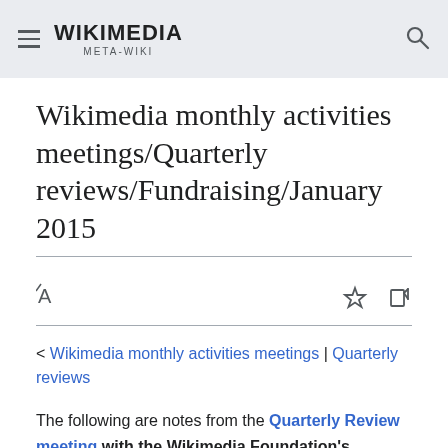WIKIMEDIA META-WIKI
Wikimedia monthly activities meetings/Quarterly reviews/Fundraising/January 2015
< Wikimedia monthly activities meetings | Quarterly reviews
The following are notes from the Quarterly Review meeting with the Wikimedia Foundation's Fundraising and Fundraising Tech team, January 23, 2015, 13:00 - 14:30 PST.
Please keep in mind that these minutes are mostly a